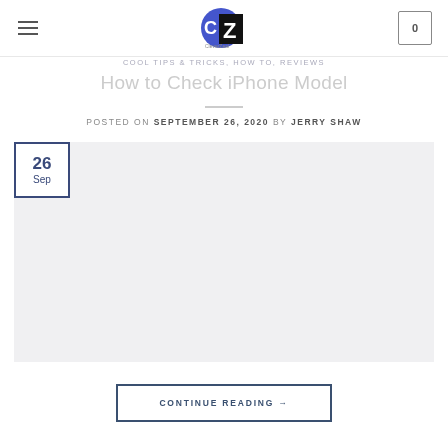CZ CleverZeal logo, hamburger menu, cart icon
COOL TIPS & TRICKS, HOW TO, REVIEWS
How to Check iPhone Model
POSTED ON SEPTEMBER 26, 2020 BY JERRY SHAW
[Figure (photo): Featured image placeholder with date badge showing 26 Sep]
CONTINUE READING →